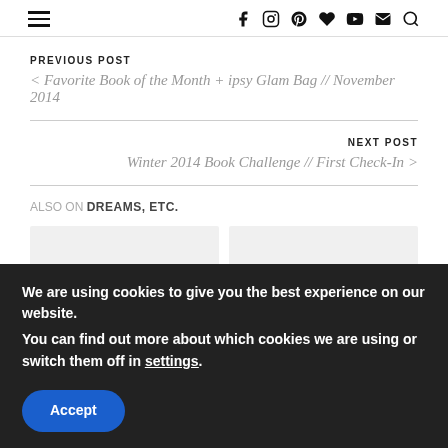Navigation header with hamburger menu and social icons
PREVIOUS POST
< Favorite Book of the Month + ipsy Glam Bag // November 2014
NEXT POST
Winter 2014 Book Challenge // First Check-In >
ALSO ON DREAMS, ETC.
We are using cookies to give you the best experience on our website.
You can find out more about which cookies we are using or switch them off in settings.
Accept